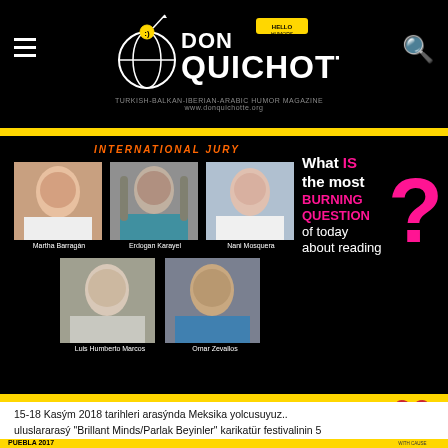DON QUICHOTTE
[Figure (infographic): International jury panel for Brillant Minds/Parlak Beyinler cartoon festival with 5 jury members: Martha Barragán, Erdogan Karayel, Nani Mosquera, Luis Humberto Marcos, Omar Zevallos. Right side shows 'What IS the most BURNING QUESTION of today about reading?' text with pink question mark.]
[Figure (infographic): Bottom banner with CDI La Ciudad de las Ideas PUEBLA 2017 logo on left, pink Deadline: September 24 box in center, and Cartoonists with Cause heart logo on right.]
15-18 Kasým 2018 tarihleri arasýnda Meksika yolcusuyuz.. uluslararasý "Brillant Minds/Parlak Beyinler" karikatür festivalinin 5